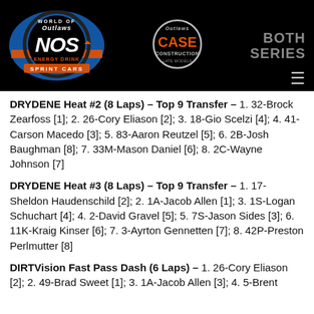[Figure (logo): World of Outlaws NOS Energy Drink Sprint Cars logo, Outlaws CASE Construction Late Models logo, and BOTH SERIES text on black header bar with hamburger menu icon]
DRYDENE Heat #2 (8 Laps) – Top 9 Transfer – 1. 32-Brock Zearfoss [1]; 2. 26-Cory Eliason [2]; 3. 18-Gio Scelzi [4]; 4. 41-Carson Macedo [3]; 5. 83-Aaron Reutzel [5]; 6. 2B-Josh Baughman [8]; 7. 33M-Mason Daniel [6]; 8. 2C-Wayne Johnson [7]
DRYDENE Heat #3 (8 Laps) – Top 9 Transfer – 1. 17-Sheldon Haudenschild [2]; 2. 1A-Jacob Allen [1]; 3. 1S-Logan Schuchart [4]; 4. 2-David Gravel [5]; 5. 7S-Jason Sides [3]; 6. 11K-Kraig Kinser [6]; 7. 3-Ayrton Gennetten [7]; 8. 42P-Preston Perlmutter [8]
DIRTVision Fast Pass Dash (6 Laps) – 1. 26-Cory Eliason [2]; 2. 49-Brad Sweet [1]; 3. 1A-Jacob Allen [3]; 4. 5-Brent